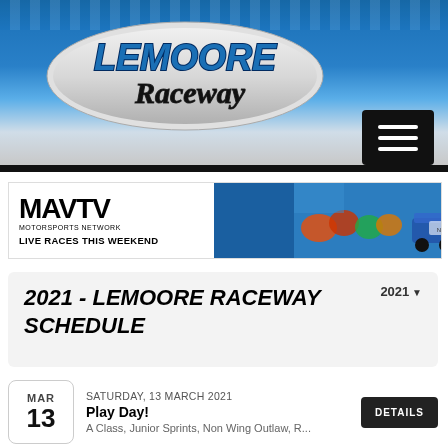[Figure (logo): Lemoore Raceway logo on blue gradient banner header with checkered flag pattern and hamburger menu button]
[Figure (photo): MAVTV Motorsports Network advertisement banner — Live Races This Weekend — with racing photos on right side]
2021 - LEMOORE RACEWAY SCHEDULE
2021
SATURDAY, 13 MARCH 2021
Play Day!
A Class, Junior Sprints, Non Wing Outlaw, R...
DETAILS